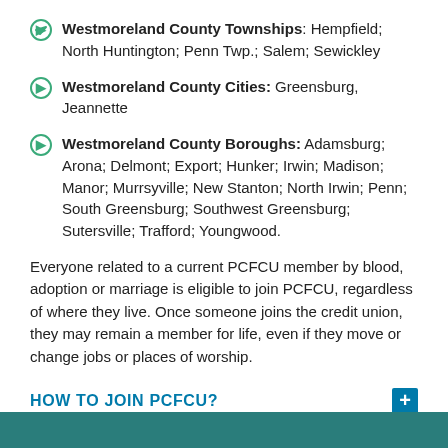Westmoreland County Townships: Hempfield; North Huntington; Penn Twp.; Salem; Sewickley
Westmoreland County Cities: Greensburg, Jeannette
Westmoreland County Boroughs: Adamsburg; Arona; Delmont; Export; Hunker; Irwin; Madison; Manor; Murrsyville; New Stanton; North Irwin; Penn; South Greensburg; Southwest Greensburg; Sutersville; Trafford; Youngwood.
Everyone related to a current PCFCU member by blood, adoption or marriage is eligible to join PCFCU, regardless of where they live. Once someone joins the credit union, they may remain a member for life, even if they move or change jobs or places of worship.
HOW TO JOIN PCFCU?